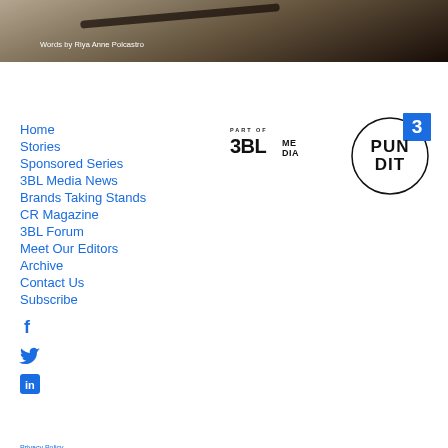[Figure (photo): Dark textured background photo with sandy/rocky surface]
Words by Riya Anne Polcastro
Home
Stories
Sponsored Series
3BL Media News
Brands Taking Stands
CR Magazine
3BL Forum
Meet Our Editors
Archive
Contact Us
Subscribe
[Figure (logo): PART OF 3BL MEDIA logo]
[Figure (logo): PUNDIT logo with 3 badge - circle with PUN DIT text]
[Figure (logo): Facebook icon]
[Figure (logo): Twitter icon]
[Figure (logo): LinkedIn icon]
Privacy Policy